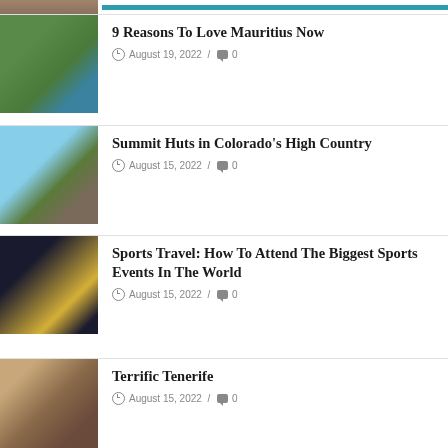[Figure (photo): Partial thumbnail of a resort/lodge with pool, cropped at top]
9 Reasons To Love Mauritius Now
August 19, 2022 / 0
[Figure (photo): Mountain chalet / summit hut building with blue sky background]
Summit Huts in Colorado’s High Country
August 15, 2022 / 0
[Figure (photo): FIFA World Cup trophy held up against dark background with World Cup 2022 branding]
Sports Travel: How To Attend The Biggest Sports Events In The World
August 15, 2022 / 0
[Figure (photo): Stone building/alley in Tenerife]
Terrific Tenerife
August 15, 2022 / 0